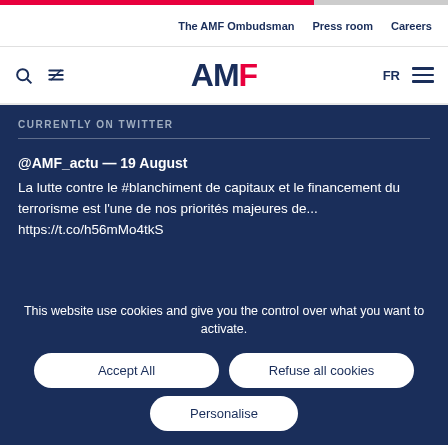The AMF Ombudsman   Press room   Careers
[Figure (logo): AMF logo with dark blue A and M, red F]
CURRENTLY ON TWITTER
@AMF_actu — 19 August
La lutte contre le #blanchiment de capitaux et le financement du terrorisme est l'une de nos priorités majeures de... https://t.co/h56mMo4tkS
This website use cookies and give you the control over what you want to activate.
Accept All
Refuse all cookies
Personalise